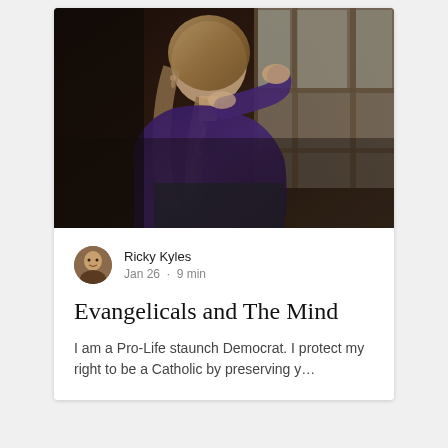[Figure (photo): A young woman with a braided ponytail wearing a dark purple sweater, sitting by a window and resting her chin on her hand, looking outside pensively. The background shows a window with light coming through.]
Ricky Kyles
Jan 26 · 9 min
Evangelicals and The Mind
I am a Pro-Life staunch Democrat. I protect my right to be a Catholic by preserving y…